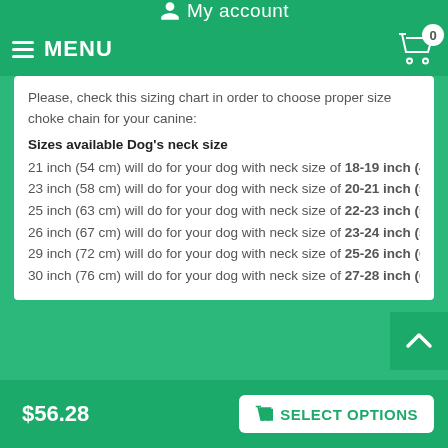My account
MENU  0
Please, check this sizing chart in order to choose proper size choke chain for your canine:
Sizes available  Dog's neck size
21 inch (54 cm) will do for your dog with neck size of 18-19 inch (45-...
23 inch (58 cm) will do for your dog with neck size of 20-21 inch (50-...
25 inch (63 cm) will do for your dog with neck size of 22-23 inch (55-...
26 inch (67 cm) will do for your dog with neck size of 23-24 inch (58-...
29 inch (72 cm) will do for your dog with neck size of 25-26 inch (63-...
30 inch (76 cm) will do for your dog with neck size of 27-28 inch (68-...
$56.28  SELECT OPTIONS